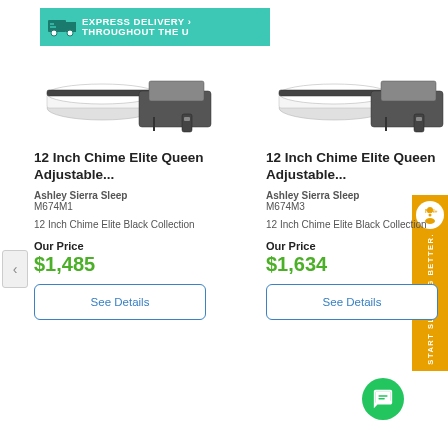[Figure (infographic): Express delivery banner with truck icon and teal background, text: EXPRESS DELIVERY THROUGHOUT THE U]
[Figure (photo): Product image of 12 Inch Chime Elite Queen Adjustable mattress set (left card) showing flat mattress and adjustable base with remote]
12 Inch Chime Elite Queen Adjustable...
Ashley Sierra Sleep
M674M1
12 Inch Chime Elite Black Collection
Our Price
$1,485
See Details
[Figure (photo): Product image of 12 Inch Chime Elite Queen Adjustable mattress set (right card) showing flat mattress and adjustable base with remote]
12 Inch Chime Elite Queen Adjustable...
Ashley Sierra Sleep
M674M3
12 Inch Chime Elite Black Collection
Our Price
$1,634
See Details